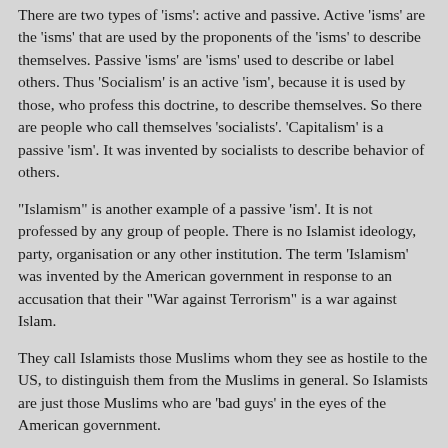There are two types of 'isms': active and passive. Active 'isms' are the 'isms' that are used by the proponents of the 'isms' to describe themselves. Passive 'isms' are 'isms' used to describe or label others. Thus 'Socialism' is an active 'ism', because it is used by those, who profess this doctrine, to describe themselves. So there are people who call themselves 'socialists'. 'Capitalism' is a passive 'ism'. It was invented by socialists to describe behavior of others.
“Islamism” is another example of a passive ‘ism’. It is not professed by any group of people. There is no Islamist ideology, party, organisation or any other institution. The term ‘Islamism’ was invented by the American government in response to an accusation that their “War against Terrorism” is a war against Islam.
They call Islamists those Muslims whom they see as hostile to the US, to distinguish them from the Muslims in general. So Islamists are just those Muslims who are ‘bad guys’ in the eyes of the American government.
While the history of various ‘isms’ might be instructive and fascinating, the real issue is not in the historical details, but in the commonality of all the ‘isms’.
And it is the belief of the adherents of the active ‘isms’, that